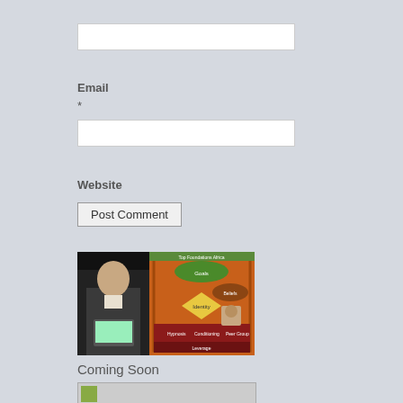[Figure (other): Empty text input field (Name or similar)]
Email
*
[Figure (other): Empty text input field for email]
Website
[Figure (other): Post Comment button]
[Figure (screenshot): Screenshot of a video or webpage showing a man in a suit with a diagram about Hypnosis, Conditioning, Peer Group, Leverage]
Coming Soon
[Figure (photo): Partially visible image placeholder at the bottom]